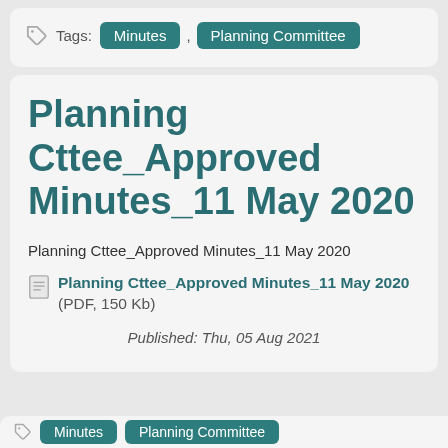Tags: Minutes , Planning Committee
Planning Cttee_Approved Minutes_11 May 2020
Planning Cttee_Approved Minutes_11 May 2020
Planning Cttee_Approved Minutes_11 May 2020 (PDF, 150 Kb)
Published: Thu, 05 Aug 2021